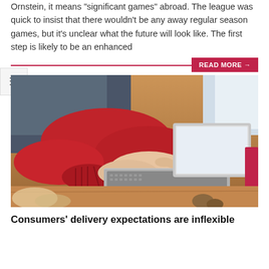Ornstein, it means 'significant games' abroad. The league was quick to insist that there wouldn't be any away regular season games, but it's unclear what the future will look like. The first step is likely to be an enhanced
READ MORE →
[Figure (photo): Person wearing red sweater typing on a laptop computer placed on a wooden table, with decorative items visible in the background.]
Consumers' delivery expectations are inflexible